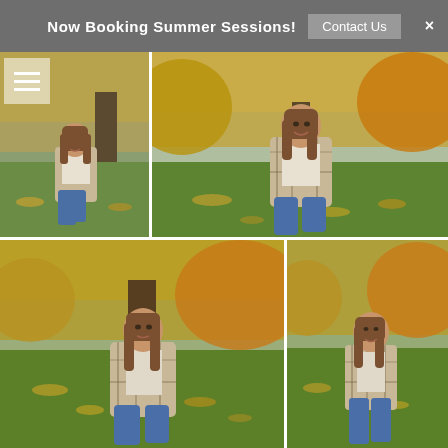Now Booking Summer Sessions! | Contact Us | ×
[Figure (photo): Small portrait photo of teenage girl crouching on grass in autumn park wearing plaid wrap, trees with fall foliage in background]
[Figure (photo): Large portrait photo of teenage girl crouching on grass in autumn park wearing plaid wrap and smiling, vibrant fall foliage trees in background]
[Figure (photo): Wide portrait photo of teenage girl crouching near large tree on grass scattered with fall leaves, wearing plaid wrap]
[Figure (photo): Portrait photo of teenage girl crouching in autumn park wearing plaid wrap and smiling, fall foliage in background]